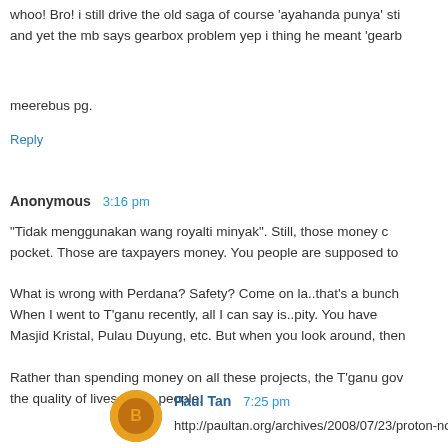whoo! Bro! i still drive the old saga of course 'ayahanda punya' still and yet the mb says gearbox problem yep i thing he meant 'gearb
meerebus pg.
Reply
Anonymous  3:16 pm
"Tidak menggunakan wang royalti minyak". Still, those money c pocket. Those are taxpayers money. You people are supposed to
What is wrong with Perdana? Safety? Come on la..that's a bunch When I went to T'ganu recently, all I can say is..pity. You have Masjid Kristal, Pulau Duyung, etc. But when you look around, then
Rather than spending money on all these projects, the T'ganu gov the quality of lives of the people.
RSA
Reply
Paul Tan  7:25 pm
http://paultan.org/archives/2008/07/23/proton-no-warranty-claims